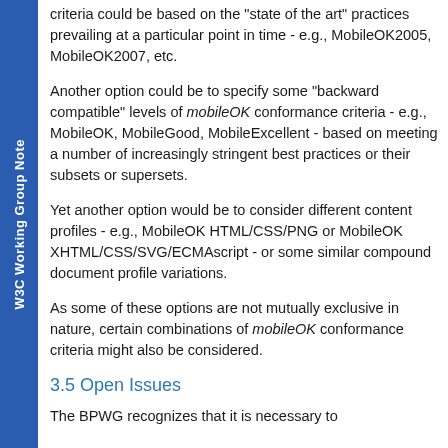W3C Working Group Note
criteria could be based on the "state of the art" practices prevailing at a particular point in time - e.g., MobileOK2005, MobileOK2007, etc.
Another option could be to specify some "backward compatible" levels of mobileOK conformance criteria - e.g., MobileOK, MobileGood, MobileExcellent - based on meeting a number of increasingly stringent best practices or their subsets or supersets.
Yet another option would be to consider different content profiles - e.g., MobileOK HTML/CSS/PNG or MobileOK XHTML/CSS/SVG/ECMAscript - or some similar compound document profile variations.
As some of these options are not mutually exclusive in nature, certain combinations of mobileOK conformance criteria might also be considered.
3.5 Open Issues
The BPWG recognizes that it is necessary to